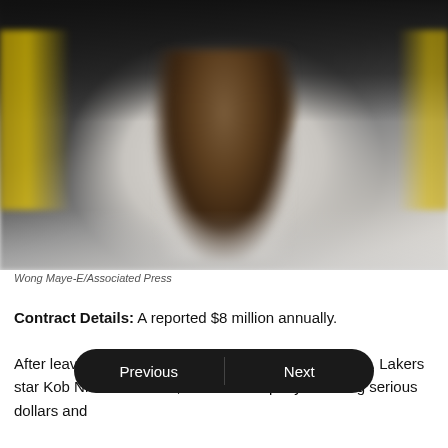[Figure (photo): Blurred photo of an athlete in a white jersey, with dark background and yellow accents visible on the sides]
Wong Maye-E/Associated Press
Contract Details: A reported $8 million annually.
After leaving Adidas for the Swoosh back in 2003, L.A. Lakers star Kob[e Bryant has been with] Nike ever since, with the company investing serious dollars and